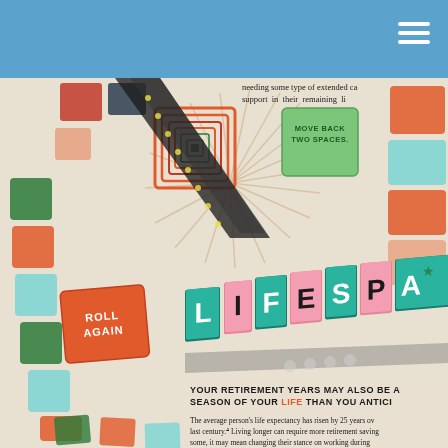needing some type of extended care support in their remaining life
[Figure (illustration): Vintage-style board game illustration showing colorful game board squares including 'ROLL AGAIN' and 'MOVE BACK TWO SPACES' spaces, with a starburst design element in the center and the partial title 'LIFESPA' visible in 3D block letters]
YOUR RETIREMENT YEARS MAY ALSO BE A LONGER SEASON OF YOUR LIFE THAN YOU ANTICIPATED
The average person's life expectancy has risen by 25 years over the last century.4 Living longer can require more retirement savings. For some, it may mean changing their stance on working during retirement. 72% of today's workers expect to keep working after they retire. However, only 30% of retirees actually remain on the